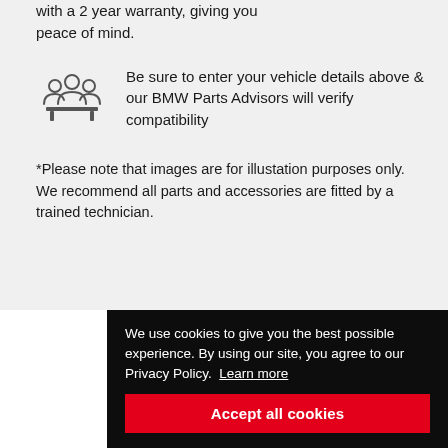with a 2 year warranty, giving you peace of mind.
[Figure (illustration): Icon showing group of people/advisors at a desk/counter]
Be sure to enter your vehicle details above & our BMW Parts Advisors will verify compatibility
*Please note that images are for illustation purposes only. We recommend all parts and accessories are fitted by a trained technician.
We use cookies to give you the best possible experience. By using our site, you agree to our Privacy Policy. Learn more
Accept all cookies